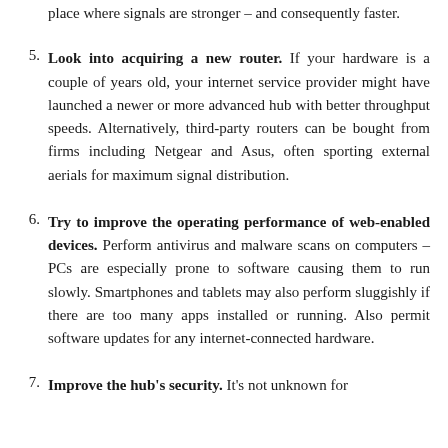place where signals are stronger – and consequently faster.
Look into acquiring a new router. If your hardware is a couple of years old, your internet service provider might have launched a newer or more advanced hub with better throughput speeds. Alternatively, third-party routers can be bought from firms including Netgear and Asus, often sporting external aerials for maximum signal distribution.
Try to improve the operating performance of web-enabled devices. Perform antivirus and malware scans on computers – PCs are especially prone to software causing them to run slowly. Smartphones and tablets may also perform sluggishly if there are too many apps installed or running. Also permit software updates for any internet-connected hardware.
Improve the hub's security. It's not unknown for